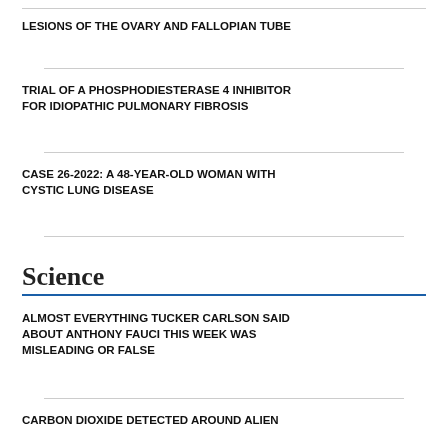LESIONS OF THE OVARY AND FALLOPIAN TUBE
TRIAL OF A PHOSPHODIESTERASE 4 INHIBITOR FOR IDIOPATHIC PULMONARY FIBROSIS
CASE 26-2022: A 48-YEAR-OLD WOMAN WITH CYSTIC LUNG DISEASE
Science
ALMOST EVERYTHING TUCKER CARLSON SAID ABOUT ANTHONY FAUCI THIS WEEK WAS MISLEADING OR FALSE
CARBON DIOXIDE DETECTED AROUND ALIEN